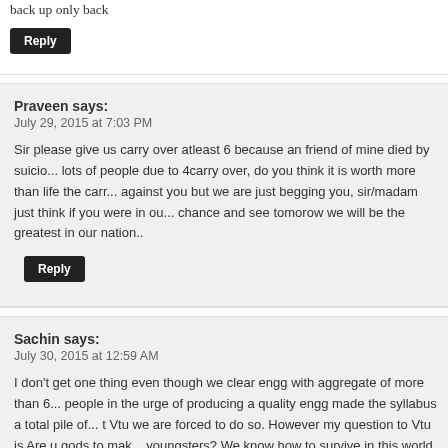back up only back
Reply
Praveen says:
July 29, 2015 at 7:03 PM
Sir please give us carry over atleast 6 because an friend of mine died by suici... lots of people due to 4carry over, do you think it is worth more than life the carr... against you but we are just begging you, sir/madam just think if you were in ou... chance and see tomorow we will be the greatest in our nation..
Reply
Sachin says:
July 30, 2015 at 12:59 AM
I don't get one thing even though we clear engg with aggregate of more than 6... people in the urge of producing a quality engg made the syllabus a total pile of... t Vtu we are forced to do so. However my question to Vtu is Are u gods to mak... youngsters? We know how to survive in this world without having the year bac... hovewer complete the engg. So what is it with you and the scams and the gam... The quality of education is bad and those who teach them are bad and those w... of what the Answer is! So this is the situation you have given the youths of Indi...